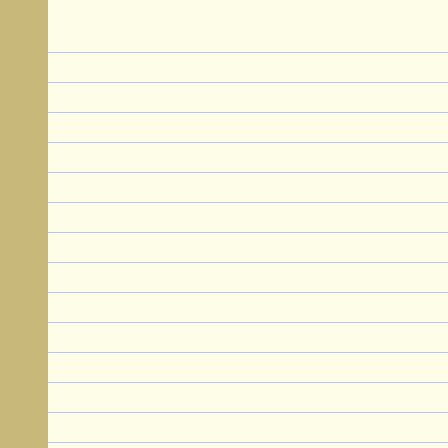[Figure (illustration): Left portion of a two-page spread showing a cream/ivory lined notebook page on the left with horizontal ruled lines, a decorative bookbinding spine with alternating colored segments (teal, orange, gold) in the center, and a teal/green background text area on the right containing prose text from Homer's Odyssey about the Sirens episode.]
Charybdis, and the Clashing Rocks men set out from the island of
Now very soon they came to the every man who listens. For st and alas for the man that wou
But when the ship drew near him. He bade all his shipmate could not hear. He alone kept that he could in no wise mo might plead, under the spell o
As they sailed near, his soul g as a minstrel coaxes the ha blooming meadow that hid t looked; and they sang, entrea Their voices were golden-swe amber floating on the tide; an and begged his men to let h sorcery, rowed harder than ev Odysseus came to his wits o free.
But they were close on new Rocks (by a device of Circe's they saw the whirlpool where